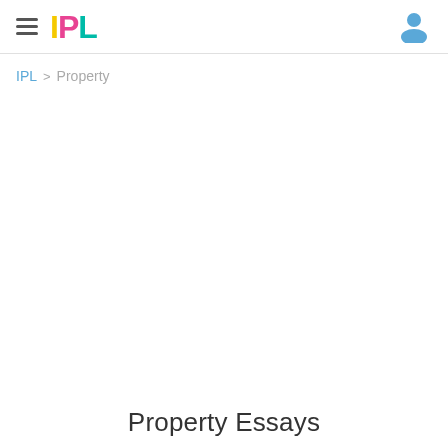IPL
IPL > Property
Property Essays